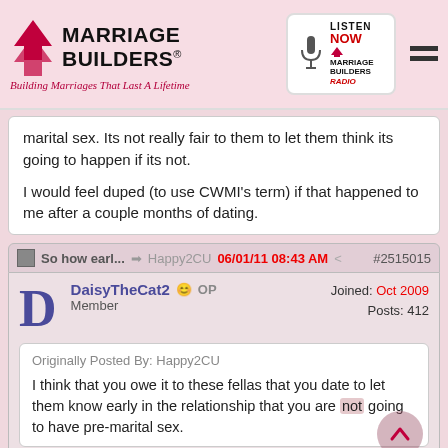Marriage Builders — Building Marriages That Last A Lifetime
marital sex. Its not really fair to them to let them think its going to happen if its not.

I would feel duped (to use CWMI's term) if that happened to me after a couple months of dating.
So how earl... Happy2CU 06/01/11 08:43 AM #2515015
DaisyTheCat2 OP Joined: Oct 2009
Member Posts: 412
Originally Posted By: Happy2CU
I think that you owe it to these fellas that you date to let them know early in the relationship that you are not going to have pre-marital sex.